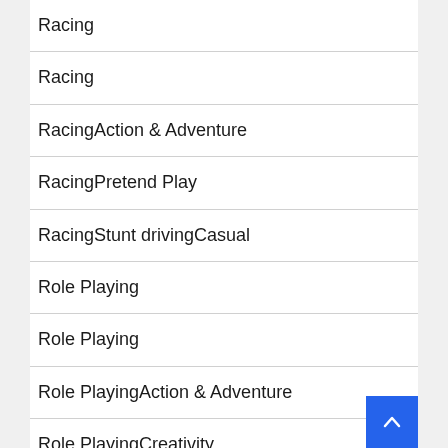Racing
Racing
RacingAction & Adventure
RacingPretend Play
RacingStunt drivingCasual
Role Playing
Role Playing
Role PlayingAction & Adventure
Role PlayingCreativity